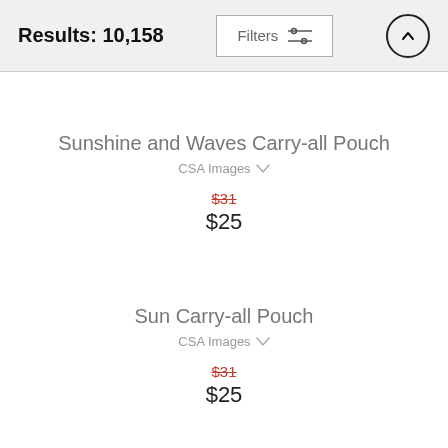Results: 10,158
Filters
Sunshine and Waves Carry-all Pouch
CSA Images
$31  $25
Sun Carry-all Pouch
CSA Images
$31  $25